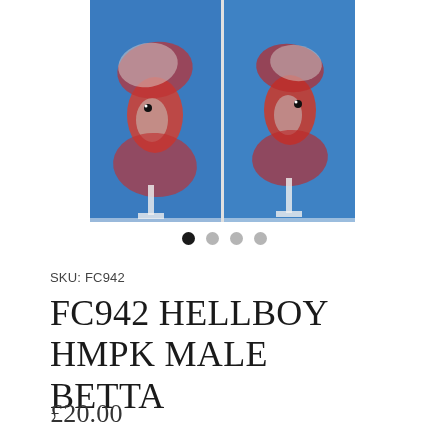[Figure (photo): Two side-by-side photos of a Hellboy HMPK male betta fish with red and white coloring against a blue background]
SKU: FC942
FC942 HELLBOY HMPK MALE BETTA
£20.00
Quantity
1